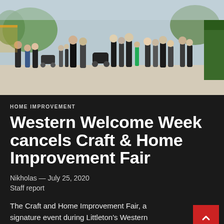[Figure (photo): Crowd of people walking at an outdoor street fair or market event, with strollers visible and vendors on the sides, on a sunny day.]
HOME IMPROVEMENT
Western Welcome Week cancels Craft & Home Improvement Fair
Nikholas — July 25, 2020
Staff report
The Craft and Home Improvement Fair, a signature event during Littleton's Western Welcome Week, has been canceled, yet another example of the fallout from the coronavirus pandemic.
"We have been unable to secure enough vendors to